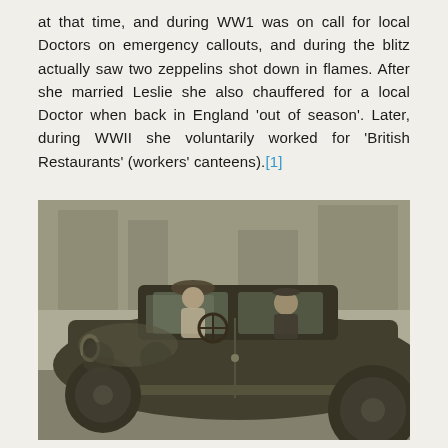at that time, and during WW1 was on call for local Doctors on emergency callouts, and during the blitz actually saw two zeppelins shot down in flames. After she married Leslie she also chauffered for a local Doctor when back in England 'out of season'. Later, during WWII she voluntarily worked for 'British Restaurants' (workers' canteens).[1]
[Figure (photo): Black and white vintage photograph of an early automobile (likely 1910s-1920s), with a woman in a large hat seated in the driver's seat and a man in a cap visible in the rear passenger area. Other older vehicles and a street scene are visible in the background.]